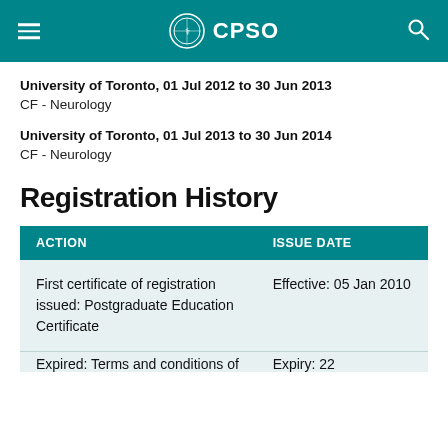CPSO
University of Toronto, 01 Jul 2012 to 30 Jun 2013
CF - Neurology
University of Toronto, 01 Jul 2013 to 30 Jun 2014
CF - Neurology
Registration History
| ACTION | ISSUE DATE |
| --- | --- |
| First certificate of registration issued: Postgraduate Education Certificate | Effective: 05 Jan 2010 |
| Expired: Terms and conditions of | Expiry: 22 |